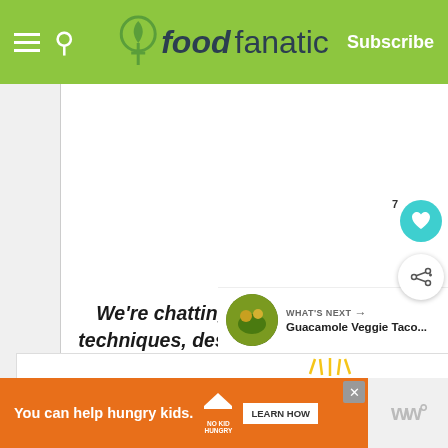foodfanatic | Subscribe
[Figure (screenshot): White content area with large italic bold text about chatting cooking techniques]
We're chatting cooking techniques, dessert ideas, and everything in between. If you're already a member, invite your friends to join us too!
WHAT'S NEXT → Guacamole Veggie Taco...
[Figure (infographic): Orange advertisement banner: You can help hungry kids. No Kid Hungry logo. LEARN HOW button.]